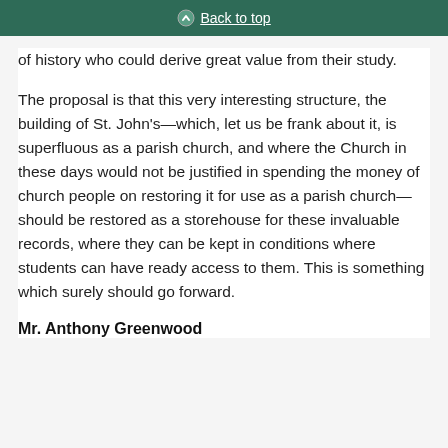Back to top
of history who could derive great value from their study.
The proposal is that this very interesting structure, the building of St. John's—which, let us be frank about it, is superfluous as a parish church, and where the Church in these days would not be justified in spending the money of church people on restoring it for use as a parish church—should be restored as a storehouse for these invaluable records, where they can be kept in conditions where students can have ready access to them. This is something which surely should go forward.
Mr. Anthony Greenwood